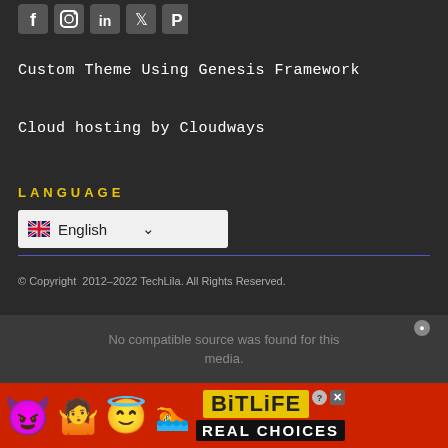[Figure (illustration): Social media icons row: Facebook, Instagram, LinkedIn, Twitter, Pinterest]
Custom Theme Using Genesis Framework
Cloud hosting by Cloudways
LANGUAGE
[Figure (screenshot): Language selector dropdown showing English with UK flag and chevron]
© Copyright 2012–2022 TechLila. All Rights Reserved.
No compatible source was found for this media.
[Figure (illustration): BitLife advertisement banner with devil emoji, person emoji, angel emoji, and REAL CHOICES tagline]